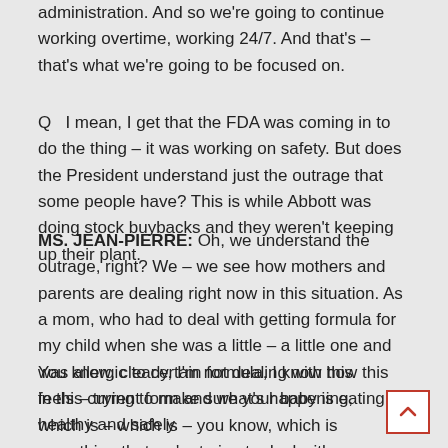administration.  And so we're going to continue working overtime, working 24/7.  And that's – that's what we're going to be focused on.
Q   I mean, I get that the FDA was coming in to do the thing – it was working on safety.  But does the President understand just the outrage that some people have?  This is while Abbott was doing stock buybacks and they weren't keeping up their plant.
MS. JEAN-PIERRE:  Oh, we understand the outrage, right?  We – we see how mothers and parents are dealing right now in this situation.  As a mom, who had to deal with getting formula for my child when she was a little – a little one and was allergic to certain formula, I know how this feels – trying to make sure your baby is eating healthy and safely.
You know, clearly, I'm not dealing with this in this current form and what's happening, which is – which is – you know, which is something that we're trying to deal with.